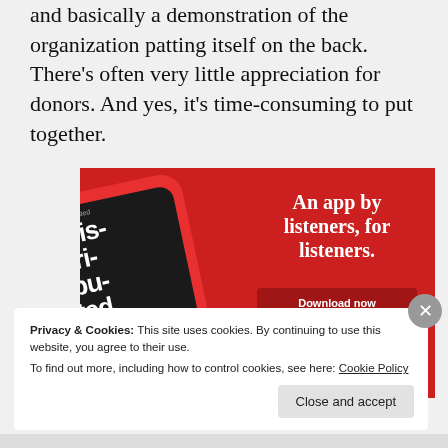and basically a demonstration of the organization patting itself on the back. There's often very little appreciation for donors. And yes, it's time-consuming to put together.
[Figure (infographic): App advertisement with red background showing a smartphone displaying a podcast app called 'Distributed'. Text reads 'An app by listeners, for listeners.' with a 'Download now' button.]
Privacy & Cookies: This site uses cookies. By continuing to use this website, you agree to their use.
To find out more, including how to control cookies, see here: Cookie Policy
Close and accept